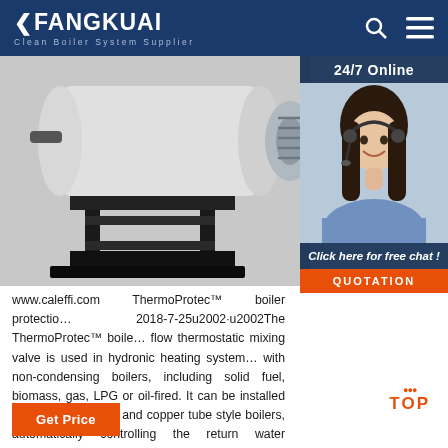FANGKUAI Clean Boiler System Supplier
[Figure (photo): Industrial boiler product photo with black metal frame/stand, white cylindrical boiler body and grey fan motor visible on right side]
[Figure (photo): 24/7 Online customer service agent: woman with headset smiling, with dark hair, blue shirt. Panel shows '24/7 Online' header, 'Click here for free chat!' text, and orange QUOTATION button]
www.caleffi.com ThermoProtec™ boiler protection 2018-7-25u2002·u2002The ThermoProtec™ boiler flow thermostatic mixing valve is used in hydronic heating systems with non-condensing boilers, including solid fuel, biomass, gas, LPG or oil-fired. It can be installed with steel, cast iron and copper tube style boilers, automatically controlling the return water temperature, preventing condensation of
Get Price